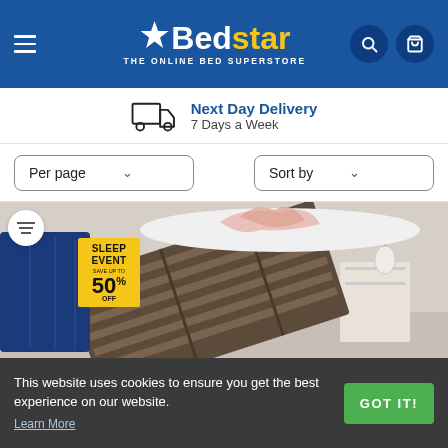[Figure (logo): Bedstar logo - white star icon, 'Bed' in white bold text, 'star' in yellow bold text, subtitle 'THE ONLINE BED SUPERSTORE' in white. Blue background header with hamburger menu, search and cart icons.]
Next Day Delivery
7 Days a Week
Per page
Sort by
[Figure (photo): Product photo showing a bed frame with storage (ottoman style) being lifted up, revealing slatted base. White mattress on top, pink fluffy throw draped over. Blue velvet headboard visible. White bedside table with flowers in background. Sleep Event badge showing 50% OFF.]
This website uses cookies to ensure you get the best experience on our website. Learn More
GOT IT!